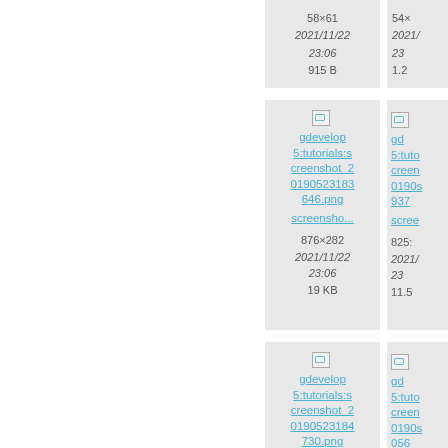[Figure (screenshot): File card top-left partial: 58×61, 2021/11/22 23:06, 915 B]
[Figure (screenshot): File card top-right partial: 54×..., 2021/... 23..., 1.2...]
[Figure (screenshot): File card middle-left: gdevelop5:tutorials:screenshot_20190523183646.png, screensho..., 876×282, 2021/11/22 23:06, 19 KB]
[Figure (screenshot): File card middle-right partial: gd... 5:tuto... creen... 0190s... 937..., scree..., 825:..., 2021/... 23..., 11.5...]
[Figure (screenshot): File card bottom-left: gdevelop5:tutorials:screenshot_20190523184730.png, screensho..., 810×350...]
[Figure (screenshot): File card bottom-right partial: gd... 5:tuto... creen... 0190s... 056..., scree...]